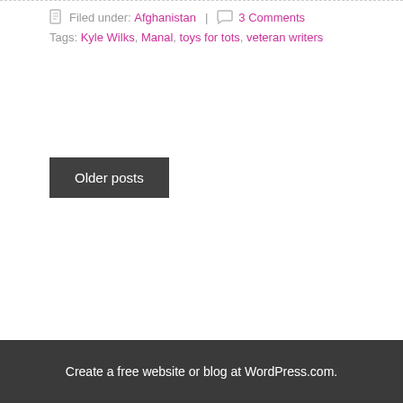Filed under: Afghanistan | 3 Comments
Tags: Kyle Wilks, Manal, toys for tots, veteran writers
Older posts
Create a free website or blog at WordPress.com.